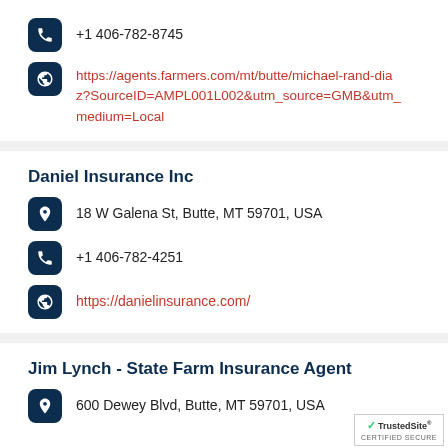+1 406-782-8745
https://agents.farmers.com/mt/butte/michael-rand-diaz?SourceID=AMPL001L002&utm_source=GMB&utm_medium=Local
Daniel Insurance Inc
18 W Galena St, Butte, MT 59701, USA
+1 406-782-4251
https://danielinsurance.com/
Jim Lynch - State Farm Insurance Agent
600 Dewey Blvd, Butte, MT 59701, USA